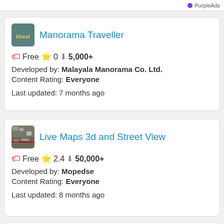PurpleAds
Manorama Traveller
Free ★ 0 ⬇ 5,000+
Developed by: Malayala Manorama Co. Ltd.
Content Rating: Everyone
Last updated: 7 months ago
Live Maps 3d and Street View
Free ★ 2.4 ⬇ 50,000+
Developed by: Mopedse
Content Rating: Everyone
Last updated: 8 months ago